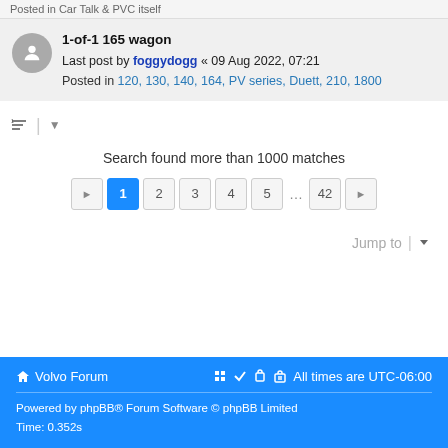Posted in Car Talk & PVC itself
1-of-1 165 wagon
Last post by foggydogg « 09 Aug 2022, 07:21
Posted in 120, 130, 140, 164, PV series, Duett, 210, 1800
Search found more than 1000 matches
1 2 3 4 5 ... 42
Jump to
Volvo Forum   All times are UTC-06:00
Powered by phpBB® Forum Software © phpBB Limited
Time: 0.352s